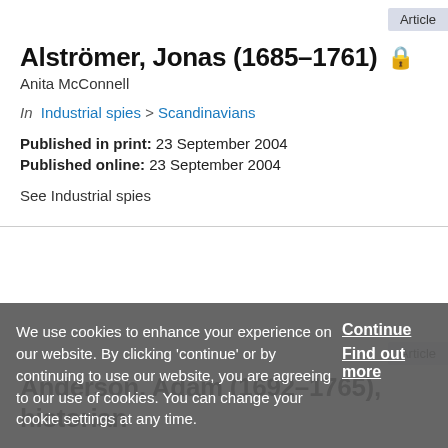Article
Alströmer, Jonas (1685–1761)
Anita McConnell
In  Industrial spies > Scandinavians
Published in print: 23 September 2004
Published online: 23 September 2004
See Industrial spies
Article
Anderson, Adam (1692–1765), historian
We use cookies to enhance your experience on our website. By clicking 'continue' or by continuing to use our website, you are agreeing to our use of cookies. You can change your cookie settings at any time.